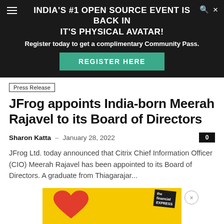INDIA'S #1 OPEN SOURCE EVENT IS BACK IN IT'S PHYSICAL AVATAR!
Register today to get a complimentary Community Pass.
REGISTER HERE
Press Release
JFrog appoints India-born Meerah Rajavel to its Board of Directors
Sharon Katta – January 28, 2022
JFrog Ltd. today announced that Citrix Chief Information Officer (CIO) Meerah Rajavel has been appointed to its Board of Directors. A graduate from Thiagarajar...
[Figure (other): Advertisement banner with yellow background featuring a red heart illustration and a newspaper (Financial Express) image]